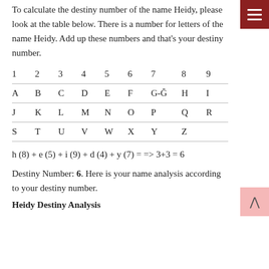To calculate the destiny number of the name Heidy, please look at the table below. There is a number for letters of the name Heidy. Add up these numbers and that's your destiny number.
| 1 | 2 | 3 | 4 | 5 | 6 | 7 | 8 | 9 |
| --- | --- | --- | --- | --- | --- | --- | --- | --- |
| A | B | C | D | E | F | G-Ğ | H | I |
| J | K | L | M | N | O | P | Q | R |
| S | T | U | V | W | X | Y | Z |  |
Destiny Number: 6. Here is your name analysis according to your destiny number.
Heidy Destiny Analysis